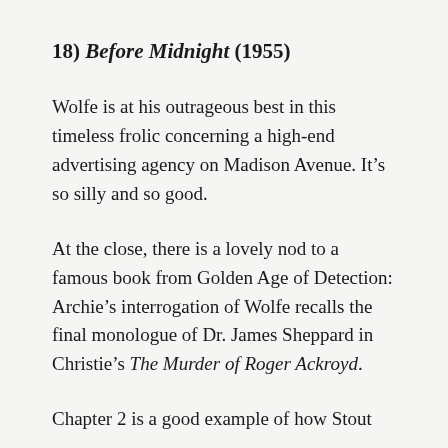18) Before Midnight (1955)
Wolfe is at his outrageous best in this timeless frolic concerning a high-end advertising agency on Madison Avenue. It’s so silly and so good.
At the close, there is a lovely nod to a famous book from Golden Age of Detection: Archie’s interrogation of Wolfe recalls the final monologue of Dr. James Sheppard in Christie’s The Murder of Roger Ackroyd.
Chapter 2 is a good example of how Stout